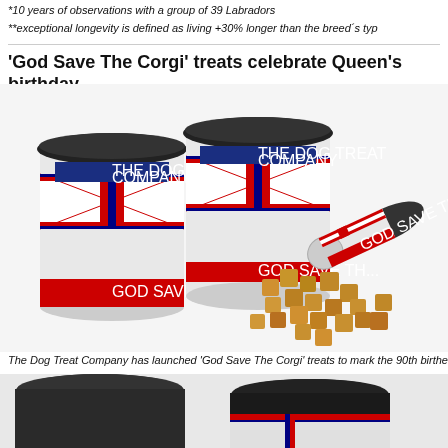*10 years of observations with a group of 39 Labradors
**exceptional longevity is defined as living +30% longer than the breed’s typ
‘God Save The Corgi’ treats celebrate Queen’s birthday
[Figure (photo): Three cylindrical tins of 'God Save The Corgi' dog treats from The Dog Treat Company, with Union Jack design, one tipped over with treats spilling out.]
The Dog Treat Company has launched 'God Save The Corgi' treats to mark the 90th birthe
[Figure (photo): Partial view of more dog treat tins from The Dog Treat Company, showing lids and Union Jack labeling at the bottom of the page.]